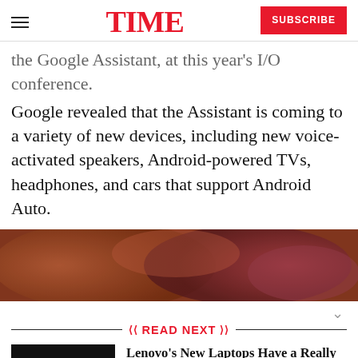TIME | SUBSCRIBE
the Google Assistant, at this year's I/O conference. Google revealed that the Assistant is coming to a variety of new devices, including new voice-activated speakers, Android-powered TVs, headphones, and cars that support Android Auto.
[Figure (photo): Blurred warm-toned photograph, orange and red hues, partial article image]
READ NEXT
[Figure (photo): Thumbnail image of a dark laptop/device, Lenovo product]
Lenovo's New Laptops Have a Really Smart Feature if You're Concerned About Webcam Privacy